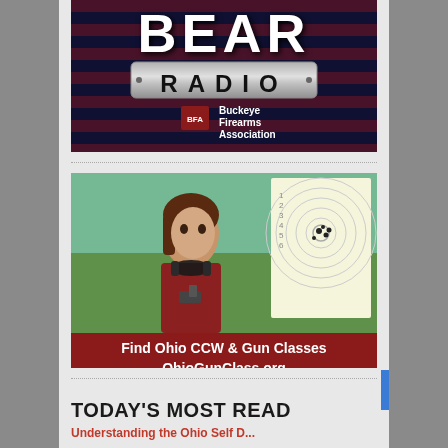[Figure (logo): Bear Radio logo with Buckeye Firearms Association branding on dark patriotic background with American flag elements]
[Figure (photo): Woman at shooting range holding a target and handgun, wearing hearing protection headphones around neck, with red CCW & Gun Classes advertisement banner overlay reading 'Find Ohio CCW & Gun Classes OhioGunClass.org']
TODAY'S MOST READ